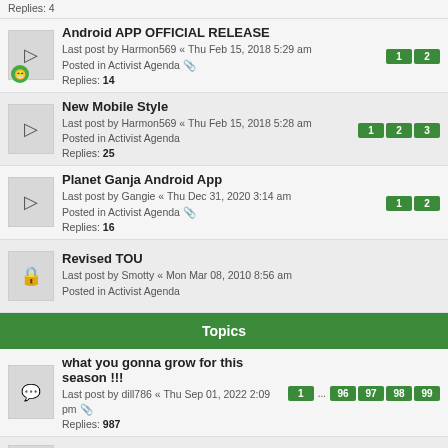Replies: 4
Android APP OFFICIAL RELEASE
Last post by Harmon569 « Thu Feb 15, 2018 5:29 am
Posted in Activist Agenda
Replies: 14 [1][2]
New Mobile Style
Last post by Harmon569 « Thu Feb 15, 2018 5:28 am
Posted in Activist Agenda
Replies: 25 [1][2][3]
Planet Ganja Android App
Last post by Gangie « Thu Dec 31, 2020 3:14 am
Posted in Activist Agenda
Replies: 16 [1][2]
Revised TOU
Last post by Smotty « Mon Mar 08, 2010 8:56 am
Posted in Activist Agenda
Topics
what you gonna grow for this season !!!
Last post by dill786 « Thu Sep 01, 2022 2:09 pm
Replies: 987 [1] ... [96][97][98][99]
Tonight's the night
Last post by rSin « Thu Jun 24, 2021 7:30 pm
Replies: 16 [1][2]
the neighbors started their garden